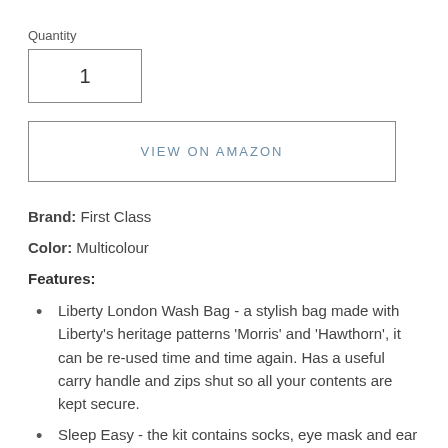Quantity
1
VIEW ON AMAZON
Brand: First Class
Color: Multicolour
Features:
Liberty London Wash Bag - a stylish bag made with Liberty's heritage patterns 'Morris' and 'Hawthorn', it can be re-used time and time again. Has a useful carry handle and zips shut so all your contents are kept secure.
Sleep Easy - the kit contains socks, eye mask and ear plugs to help you keep warm and block out light and noise for a